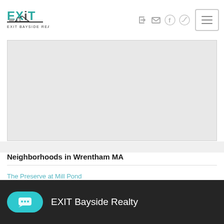[Figure (logo): EXIT Bayside Realty logo — teal EXIT text with house graphic and 'EXIT BAYSIDE REALTY' text below]
[Figure (other): Navigation icons: login arrow, envelope/email, Facebook circle, Twitter circle, and hamburger menu button]
[Figure (other): Embedded map area (grey placeholder for Google map embed)]
Neighborhoods in Wrentham MA
The Preserve at Mill Pond
EXIT Bayside Realty